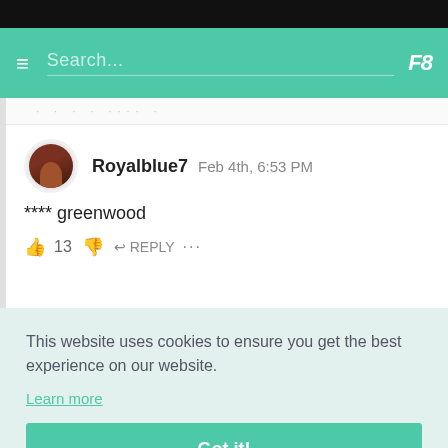Search...
Royalblue7  Feb 4th, 6:53 PM
**** greenwood
👍 13 👎 ↩ REPLY ...
This website uses cookies to ensure you get the best experience on our website.
Learn more
Got it!